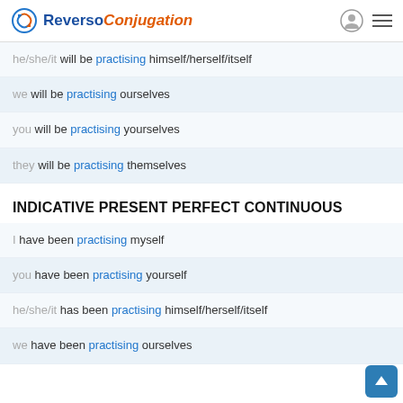Reverso Conjugation
he/she/it will be practising himself/herself/itself
we will be practising ourselves
you will be practising yourselves
they will be practising themselves
INDICATIVE PRESENT PERFECT CONTINUOUS
I have been practising myself
you have been practising yourself
he/she/it has been practising himself/herself/itself
we have been practising ourselves